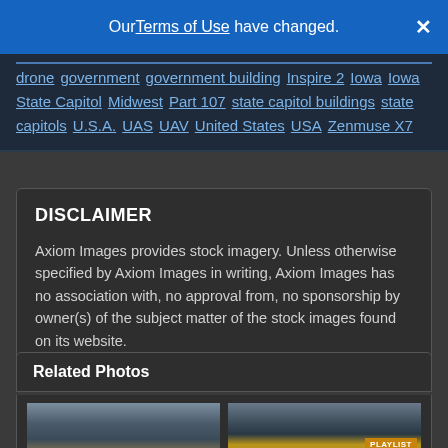Our Terms of Use have changed.
drone government government building Inspire 2 Iowa Iowa State Capitol Midwest Part 107 state capitol buildings state capitols U.S.A. UAS UAV United States USA Zenmuse X7
DISCLAIMER
Axiom Images provides stock imagery. Unless otherwise specified by Axiom Images in writing, Axiom Images has no association with, no approval from, no sponsorship by owner(s) of the subject matter of the stock images found on its website.
Related Photos
[Figure (photo): Two thumbnail photos of cityscapes, the right one has a PLAYLIST badge overlay]